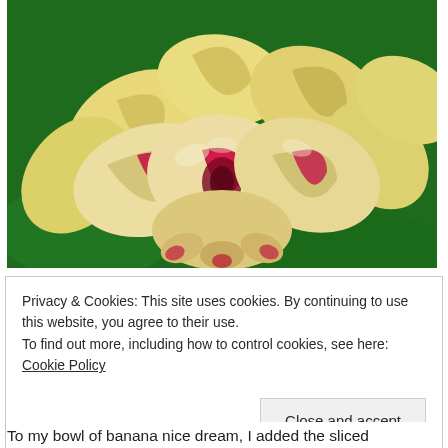[Figure (photo): Close-up photo of sliced peaches or nectarines arranged in a bowl on a green background. The fruit slices are pale yellow with vivid red/crimson centers, fanned out in a flower-like pattern.]
Privacy & Cookies: This site uses cookies. By continuing to use this website, you agree to their use.
To find out more, including how to control cookies, see here: Cookie Policy
Close and accept
To my bowl of banana nice dream, I added the sliced